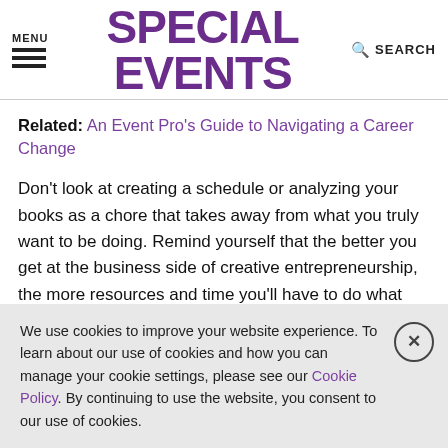MENU | SPECIAL EVENTS | SEARCH
Related: An Event Pro's Guide to Navigating a Career Change
Don’t look at creating a schedule or analyzing your books as a chore that takes away from what you truly want to be doing. Remind yourself that the better you get at the business side of creative entrepreneurship, the more resources and time you’ll have to do what you love most!
Remember Your Vision
We use cookies to improve your website experience. To learn about our use of cookies and how you can manage your cookie settings, please see our Cookie Policy. By continuing to use the website, you consent to our use of cookies.